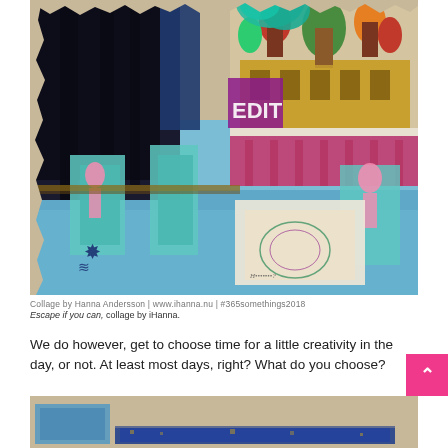[Figure (photo): Collage artwork by Hanna Andersson featuring mixed media elements: dark forest silhouettes on left, Saint Basil's Cathedral in Moscow (top right), teal paper cutouts of bird/figure shapes layered over a blurred blue swimming pool background, with a decorative cup/vessel in center, and text 'EDIT' visible. Pink figurines and teal paint splashes throughout.]
Collage by Hanna Andersson | www.ihanna.nu | #365somethings2018
Escape if you can, collage by iHanna.
We do however, get to choose time for a little creativity in the day, or not. At least most days, right? What do you choose?
[Figure (photo): Bottom portion of another collage artwork showing blue painted texture on beige/tan background, partially visible.]